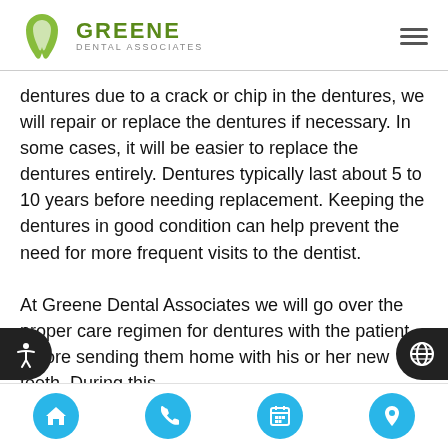Greene Dental Associates
dentures due to a crack or chip in the dentures, we will repair or replace the dentures if necessary. In some cases, it will be easier to replace the dentures entirely. Dentures typically last about 5 to 10 years before needing replacement. Keeping the dentures in good condition can help prevent the need for more frequent visits to the dentist.
At Greene Dental Associates we will go over the proper care regimen for dentures with the patient before sending them home with his or her new teeth. During this